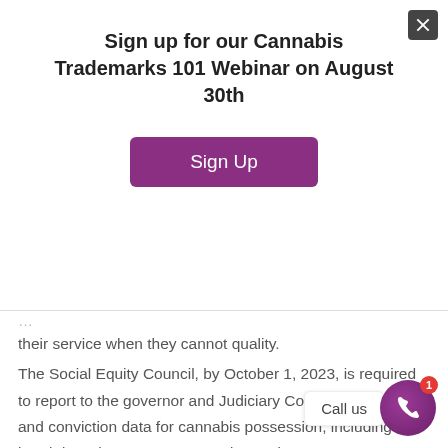Sign up for our Cannabis Trademarks 101 Webinar on August 30th
[Figure (other): Purple 'Sign Up' button for webinar registration]
their service when they cannot quality.
The Social Equity Council, by October 1, 2023, is required to report to the governor and Judiciary Committee on arrest and conviction data for cannabis possession, including a breakdown by town, race, gender, and age.
Expands the Angel Investor Tax Credit to allow investors to claim a 40% income tax credit-eligible investments imposes a $15 million per fiscal year cap on these
[Figure (other): Call us widget with phone icon and notification badge]